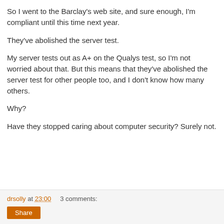So I went to the Barclay's web site, and sure enough, I'm compliant until this time next year.
They've abolished the server test.
My server tests out as A+ on the Qualys test, so I'm not worried about that. But this means that they've abolished the server test for other people too, and I don't know how many others.
Why?
Have they stopped caring about computer security? Surely not.
drsolly at 23:00    3 comments: